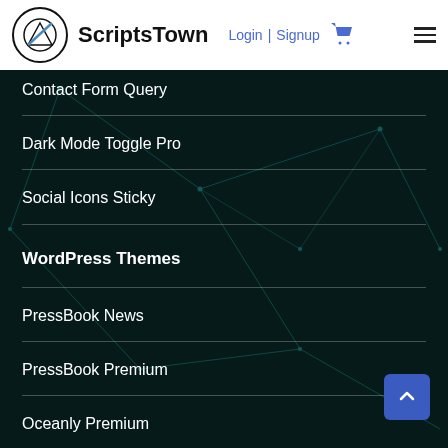ScriptsTown — Login | Signup
Contact Form Query
Dark Mode Toggle Pro
Social Icons Sticky
WordPress Themes
PressBook News
PressBook Premium
Oceanly Premium